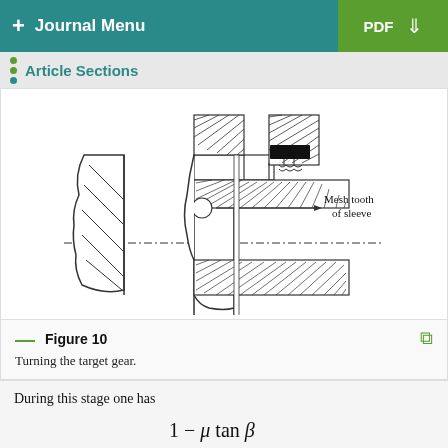+ Journal Menu | PDF
Article Sections
[Figure (engineering-diagram): Technical cross-section engineering diagram showing a gear mechanism with a mesh tooth of sleeve labeled, including hatched components, a circular element, and a centerline axis. An arrow indicates rotation direction.]
Figure 10
Turning the target gear.
During this stage one has